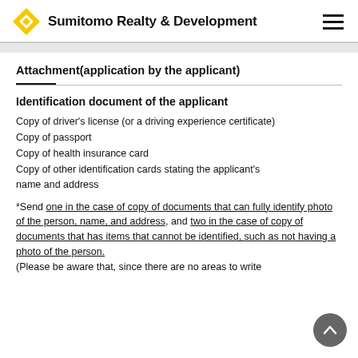Sumitomo Realty & Development
Attachment(application by the applicant)
Identification document of the applicant
Copy of driver's license (or a driving experience certificate)
Copy of passport
Copy of health insurance card
Copy of other identification cards stating the applicant's name and address
*Send one in the case of copy of documents that can fully identify photo of the person, name, and address, and two in the case of copy of documents that has items that cannot be identified, such as not having a photo of the person. (Please be aware that, since there are no areas to write